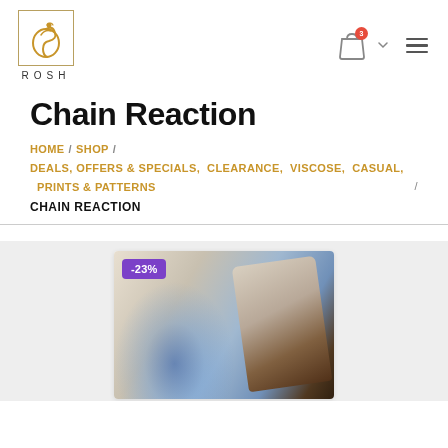[Figure (logo): ROSH brand logo with Arabic calligraphy inside a rectangular border, gold/yellow color, with 'ROSH' text below]
Chain Reaction
HOME / SHOP / DEALS, OFFERS & SPECIALS, CLEARANCE, VISCOSE, CASUAL, PRINTS & PATTERNS / CHAIN REACTION
[Figure (photo): Product photo showing colorful patterned fabric/scarf items with a -23% discount badge]